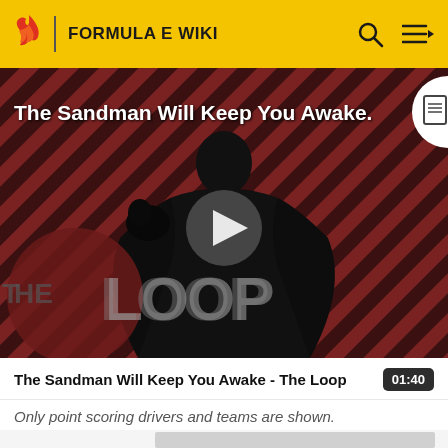FORMULA E WIKI
[Figure (screenshot): Video thumbnail showing a dark-robed figure against a diagonal striped red/dark background, with 'THE LOOP' branding overlay and a play button in the center. Title overlay reads 'The Sandman Will Keep You Awake.']
The Sandman Will Keep You Awake - The Loop
Only point scoring drivers and teams are shown.